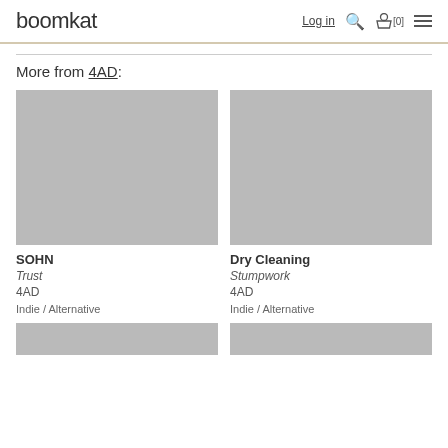boomkat   Log in  [0]
More from 4AD:
[Figure (photo): Grey placeholder album art for SOHN - Trust]
SOHN
Trust
4AD
Indie / Alternative
[Figure (photo): Grey placeholder album art for Dry Cleaning - Stumpwork]
Dry Cleaning
Stumpwork
4AD
Indie / Alternative